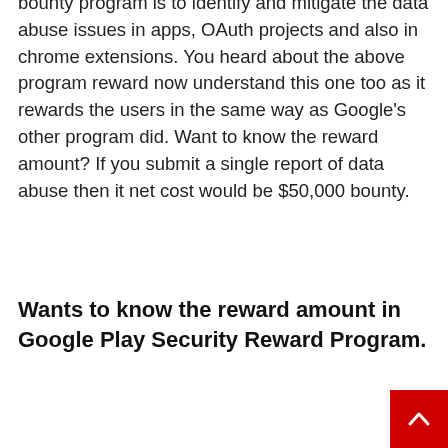bounty program is to identify and mitigate the data abuse issues in apps, OAuth projects and also in chrome extensions. You heard about the above program reward now understand this one too as it rewards the users in the same way as Google's other program did. Want to know the reward amount? If you submit a single report of data abuse then it net cost would be $50,000 bounty.
Wants to know the reward amount in Google Play Security Reward Program.